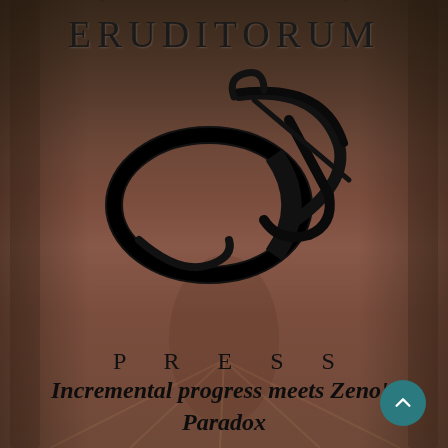[Figure (illustration): Background fantasy illustration with a robed figure in an ornate architectural setting, muted reddish-brown tones with an overlay]
ERUDITORUM
[Figure (logo): Eruditorum Press logo — stylized cursive 'EP' monogram in black with calligraphic flourishes]
PRESS
Incremental progress meets Zeno's Paradox